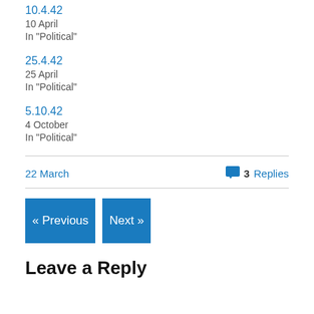10.4.42
10 April
In "Political"
25.4.42
25 April
In "Political"
5.10.42
4 October
In "Political"
22 March
💬 3 Replies
« Previous
Next »
Leave a Reply